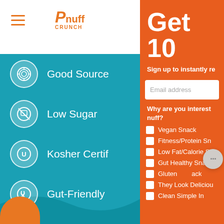[Figure (screenshot): Pnuff Crunch mobile website screenshot showing left teal panel with product features (Good Source, Low Sugar, Kosher Certified, Gut-Friendly, Non-GMO) and right orange panel with email signup form asking 'Get 10' discount, email address field, and checkbox list of reasons (Vegan Snack, Fitness/Protein Snack, Low Fat/Calorie Snack, Gut Healthy Snack, Gluten-free Snack, They Look Delicious, Clean Simple Ingredients)]